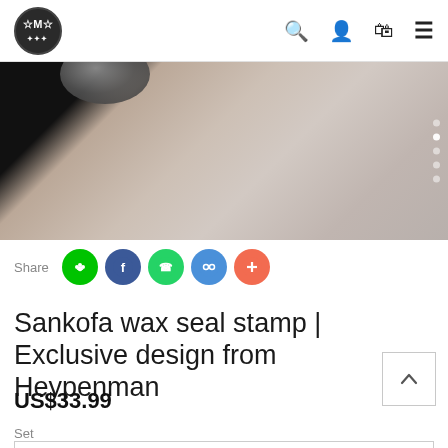[Figure (screenshot): E-commerce website header with circular logo showing 'M' text on dark background, and navigation icons (search, user, cart, menu) on the right]
[Figure (photo): Close-up product photo of a wax seal stamp showing metallic stamp head against beige/textured background with dark shadow on left side]
Share
[Figure (infographic): Social share buttons: green Line button, blue Facebook button, green WhatsApp button, blue copy-link button, red plus/more button]
Sankofa wax seal stamp | Exclusive design from Heypenman
US$33.99
Set